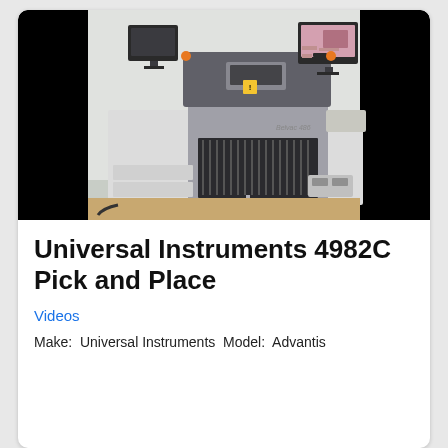[Figure (photo): Photo of a Universal Instruments 4982C Pick and Place SMT machine, white cabinet with two monitors on top, component feeders visible in the front, shot against a white brick wall with wooden floor.]
Universal Instruments 4982C Pick and Place
Videos
Make:  Universal Instruments  Model:  Advantis